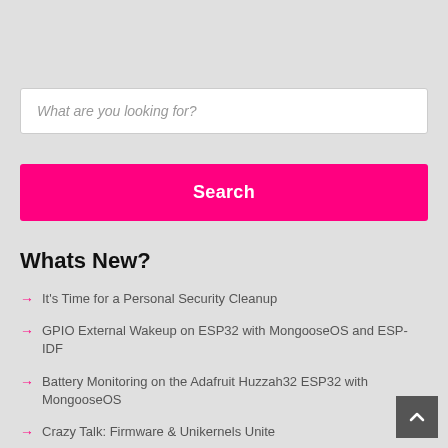What are you looking for?
Search
Whats New?
It's Time for a Personal Security Cleanup
GPIO External Wakeup on ESP32 with MongooseOS and ESP-IDF
Battery Monitoring on the Adafruit Huzzah32 ESP32 with MongooseOS
Crazy Talk: Firmware & Unikernels Unite